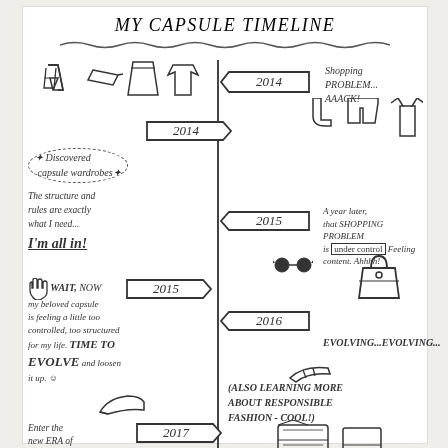My Capsule Timeline
[Figure (infographic): Hand-drawn vertical timeline showing capsule wardrobe journey from 2014 to 2017. Left side and right side alternate with year banners and handwritten annotations. 2014 right: Shopping problem... AAACK! 2014 left: Discovered capsule wardrobes. The structure and rules are exactly what I need... I'm all in! 2015 right: A year later, that shopping problem is under control. Feeling content. Ahhhh! 2015 left: WAIT, now my beloved capsule is feeling a little too controlled, too structured for my life. TIME TO EVOLVE and loosen it up. 2016 right: EVOLVING...EVOLVING... (also learning more about responsible fashion - COOL!) 2017 right: Enter the new era of...]